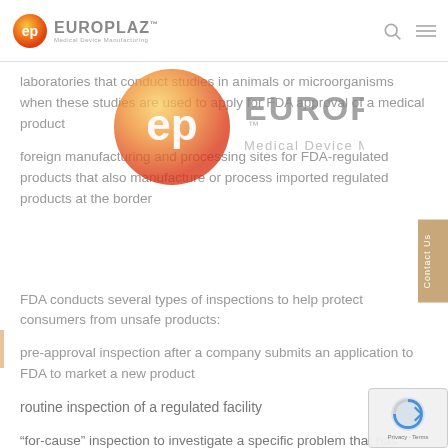EUROPLAZ Medical Device Manufacturing
laboratories that conduct studies in animals or microorganisms when these studies are used to apply for FDA approval of a medical product
foreign manufacturing and processing sites for FDA-regulated products that also manufacture or process imported regulated products at the border
[Figure (logo): Europlaz Medical Device Manufacturing logo watermark — large orange/gold gradient circle with 'EP' monogram and EUROPLAZ text]
FDA conducts several types of inspections to help protect consumers from unsafe products:
pre-approval inspection after a company submits an application to FDA to market a new product
routine inspection of a regulated facility
“for-cause” inspection to investigate a specific problem that has come to FDA’s attention